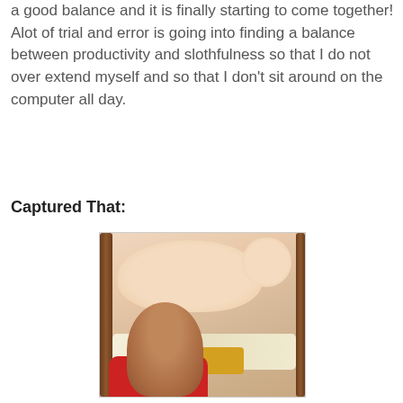a good balance and it is finally starting to come together! Alot of trial and error is going into finding a balance between productivity and slothfulness so that I do not over extend myself and so that I don't sit around on the computer all day.
Captured That:
[Figure (photo): A child in a red shirt viewed from behind, looking over a crib railing at a baby lying down. The photo shows the back of an older child's head with brown hair looking at a newborn or young baby lying on patterned bedding inside a wooden crib.]